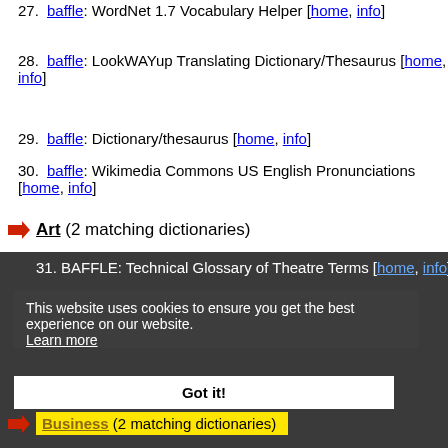27. baffle: WordNet 1.7 Vocabulary Helper [home, info]
28. baffle: LookWAYup Translating Dictionary/Thesaurus [home, info]
29. baffle: Dictionary/thesaurus [home, info]
30. baffle: Wikimedia Commons US English Pronunciations [home, info]
Art (2 matching dictionaries)
31. BAFFLE: Technical Glossary of Theatre Terms [home, info]
32. BAFFLE: Shakespeare Glossary [home, info]
This website uses cookies to ensure you get the best experience on our website. Learn more
Got it!
Business (2 matching dictionaries)
33. Baffle: Construction Term Glossary [home, info]